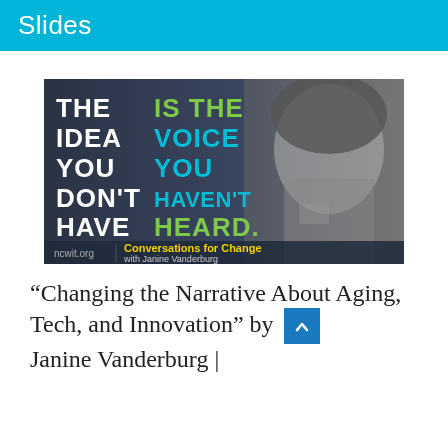Slides
[Figure (photo): Promotional image for 'Conversations for Change with Janine Vanderburg' from ncwit.org. Features bold white text on dark background reading 'THE IDEA YOU DON'T HAVE IS THE VOICE YOU HAVEN'T HEARD.' alongside a black-and-white photo of a woman (Janine Vanderburg) with her hand raised to her chin. Yellow bold text reads 'Conversations for Change' and smaller text reads 'with Janine Vanderburg'.]
“Changing the Narrative About Aging, Tech, and Innovation” by Janine Vanderburg |